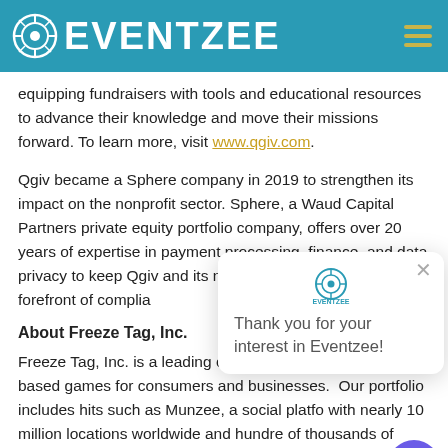EVENTZEE
equipping fundraisers with tools and educational resources to advance their knowledge and move their missions forward. To learn more, visit www.qgiv.com.
Qgiv became a Sphere company in 2019 to strengthen its impact on the nonprofit sector. Sphere, a Waud Capital Partners private equity portfolio company, offers over 20 years of expertise in payment processing, finance, and data privacy to keep Qgiv and its nonprofit customers at the forefront of complia...
About Freeze Tag, Inc.
Freeze Tag, Inc. is a leading creator of mobile location-based games for consumers and businesses.  Our portfolio includes hits such as Munzee, a social platform with nearly 10 million locations worldwide and hundreds of thousands of players that blend real-life adventure...
[Figure (screenshot): Popup dialog with Eventzee logo and message: Thank you for your interest in Eventzee!]
[Figure (illustration): Purple chat bubble icon in bottom right corner]